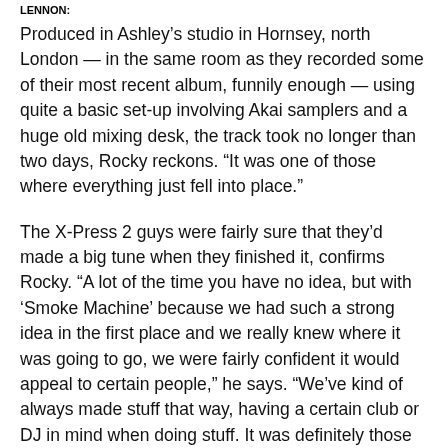LENNON:
Produced in Ashley’s studio in Hornsey, north London — in the same room as they recorded some of their most recent album, funnily enough — using quite a basic set-up involving Akai samplers and a huge old mixing desk, the track took no longer than two days, Rocky reckons. “It was one of those where everything just fell into place.”
The X-Press 2 guys were fairly sure that they’d made a big tune when they finished it, confirms Rocky. “A lot of the time you have no idea, but with ‘Smoke Machine’ because we had such a strong idea in the first place and we really knew where it was going to go, we were fairly confident it would appeal to certain people,” he says. “We’ve kind of always made stuff that way, having a certain club or DJ in mind when doing stuff. It was definitely those Miami parties that brewed things up.”